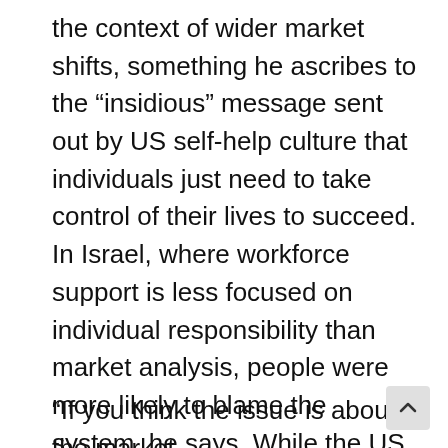the context of wider market shifts, something he ascribes to the “insidious” message sent out by US self-help culture that individuals just need to take control of their lives to succeed. In Israel, where workforce support is less focused on individual responsibility than market analysis, people were more likely to blame the system, he says. While the US professionals were prone to depression and anxiety, the Israelis were more likely to feel angry and betrayed — a form of mental anguish also, but one that allows for greater resilience, suggests Sharone.
“If you think the issue is about the market